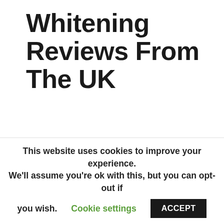Whitening Reviews From The UK
We’ve told you everything there is to know about the Snow Teeth Whitening kit and how to use it, but we haven’t yet answered the question,
“Do Snow teeth whitening work?” In a nutshell, yes, it works, and the vast majority of people are very pleased with
This website uses cookies to improve your experience. We'll assume you're ok with this, but you can opt-out if you wish. Cookie settings ACCEPT